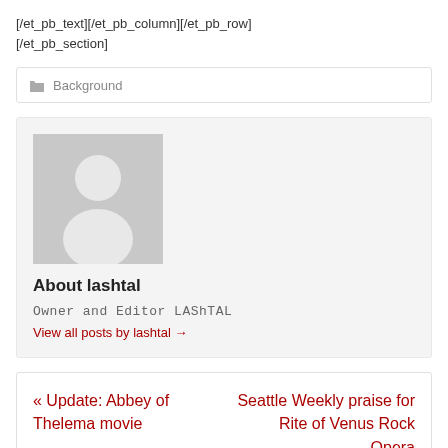[/et_pb_text][/et_pb_column][/et_pb_row][/et_pb_section]
Background
[Figure (illustration): Author avatar placeholder image showing a generic white silhouette person icon on a grey background]
About lashtal
Owner and Editor LAShTAL
View all posts by lashtal →
« Update: Abbey of Thelema movie
Seattle Weekly praise for Rite of Venus Rock Opera